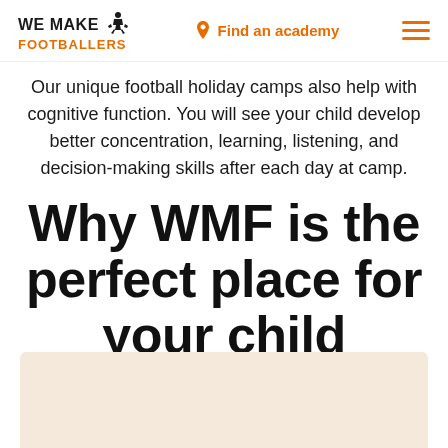WE MAKE FOOTBALLERS | Find an academy
Our unique football holiday camps also help with cognitive function. You will see your child develop better concentration, learning, listening, and decision-making skills after each day at camp.
Why WMF is the perfect place for your child
[Figure (photo): Partial image visible at the bottom of the page with a light orange/beige background, partially cropped]